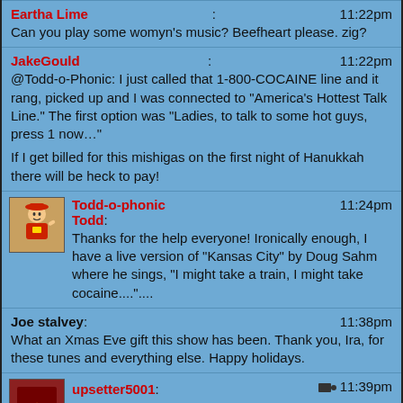Eartha Lime: Can you play some womyn's music? Beefheart please. zig? 11:22pm
JakeGould: @Todd-o-Phonic: I just called that 1-800-COCAINE line and it rang, picked up and I was connected to "America's Hottest Talk Line." The first option was "Ladies, to talk to some hot guys, press 1 now…"

If I get billed for this mishigas on the first night of Hanukkah there will be heck to pay! 11:22pm
Todd-o-phonic Todd: Thanks for the help everyone! Ironically enough, I have a live version of "Kansas City" by Doug Sahm where he sings, "I might take a train, I might take cocaine....".... 11:24pm
Joe stalvey: What an Xmas Eve gift this show has been. Thank you, Ira, for these tunes and everything else. Happy holidays. 11:38pm
upsetter5001: 11:39pm